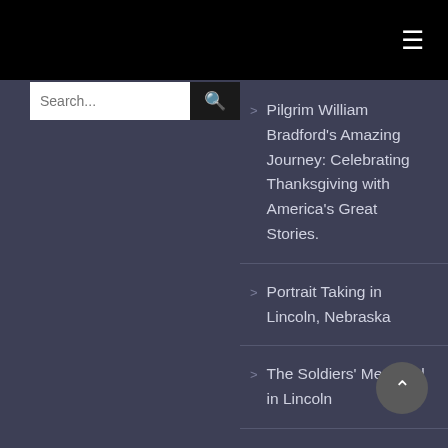≡
[Figure (screenshot): Search input field with magnifying glass button]
Pilgrim William Bradford's Amazing Journey: Celebrating Thanksgiving with America's Great Stories.
Portrait Taking in Lincoln, Nebraska
The Soldiers' Memorial in Lincoln